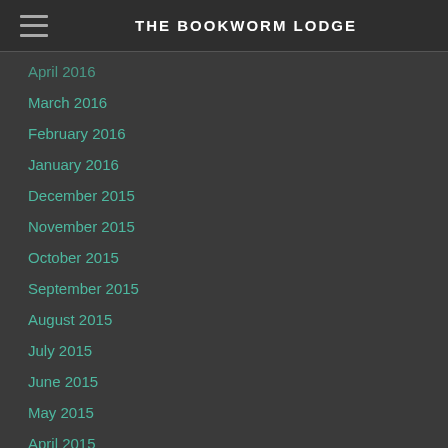THE BOOKWORM LODGE
April 2016
March 2016
February 2016
January 2016
December 2015
November 2015
October 2015
September 2015
August 2015
July 2015
June 2015
May 2015
April 2015
March 2015
February 2015
January 2015
December 2014
November 2014